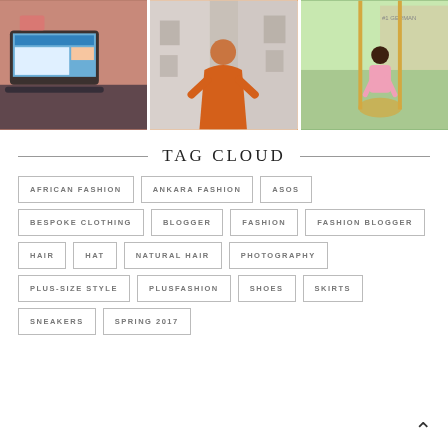[Figure (photo): Three Instagram-style fashion photos in a row: left shows a laptop with fashion website, center shows a woman in an orange dress in a hallway, right shows a woman in a pink outfit on a swing.]
TAG CLOUD
AFRICAN FASHION
ANKARA FASHION
ASOS
BESPOKE CLOTHING
BLOGGER
FASHION
FASHION BLOGGER
HAIR
HAT
NATURAL HAIR
PHOTOGRAPHY
PLUS-SIZE STYLE
PLUSFASHION
SHOES
SKIRTS
SNEAKERS
SPRING 2017